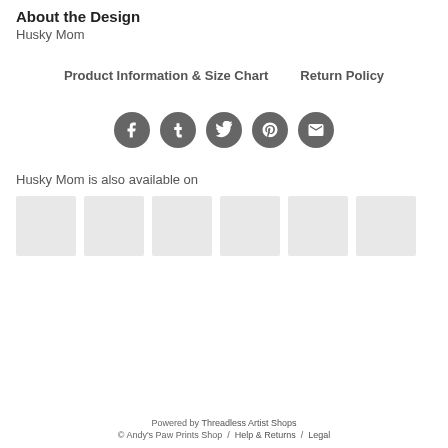About the Design
Husky Mom
Product Information & Size Chart   Return Policy
[Figure (other): Social media share icons: Facebook, Tumblr, Twitter, Pinterest, Email — dark gray circles with white icons]
Husky Mom is also available on
[Figure (other): Row of 6 product thumbnail placeholder images (light gray rectangles)]
Powered by Threadless Artist Shops
© Andy's Paw Prints Shop / Help & Returns / Legal